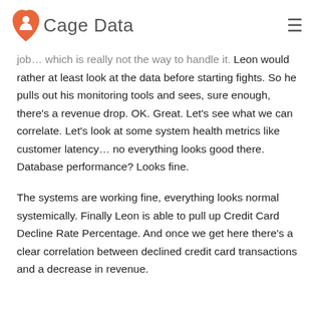Cage Data
job… which is really not the way to handle it. Leon would rather at least look at the data before starting fights. So he pulls out his monitoring tools and sees, sure enough, there's a revenue drop. OK. Great. Let's see what we can correlate. Let's look at some system health metrics like customer latency… no everything looks good there. Database performance? Looks fine.

The systems are working fine, everything looks normal systemically. Finally Leon is able to pull up Credit Card Decline Rate Percentage. And once we get here there's a clear correlation between declined credit card transactions and a decrease in revenue.